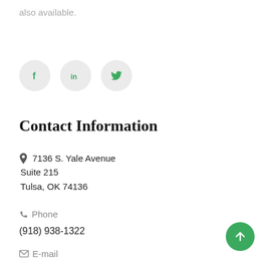also available.
[Figure (illustration): Three circular social media icon buttons for Facebook (f), LinkedIn (in), and Twitter (bird icon), with green icons on light gray circle backgrounds.]
Contact Information
📍 7136 S. Yale Avenue
Suite 215
Tulsa, OK 74136
📞 Phone
(918) 938-1322
✉ E-mail